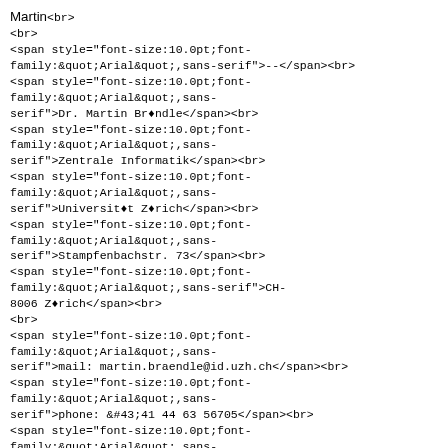<span style="font-size:10.0pt;font-family:&quot;Arial&quot;,sans-serif">Martin</span><br>
<br>
<span style="font-size:10.0pt;font-family:&quot;Arial&quot;,sans-serif">--</span><br>
<span style="font-size:10.0pt;font-family:&quot;Arial&quot;,sans-serif">Dr. Martin Brändle</span><br>
<span style="font-size:10.0pt;font-family:&quot;Arial&quot;,sans-serif">Zentrale Informatik</span><br>
<span style="font-size:10.0pt;font-family:&quot;Arial&quot;,sans-serif">Universität Zürich</span><br>
<span style="font-size:10.0pt;font-family:&quot;Arial&quot;,sans-serif">Stampfenbachstr. 73</span><br>
<span style="font-size:10.0pt;font-family:&quot;Arial&quot;,sans-serif">CH-8006 Zürich</span><br>
<br>
<span style="font-size:10.0pt;font-family:&quot;Arial&quot;,sans-serif">mail: martin.braendle@id.uzh.ch</span><br>
<span style="font-size:10.0pt;font-family:&quot;Arial&quot;,sans-serif">phone: +41 44 63 56705</span><br>
<span style="font-size:10.0pt;font-family:&quot;Arial&quot;,sans-serif">fax: +41 44 63 54505</span><br>